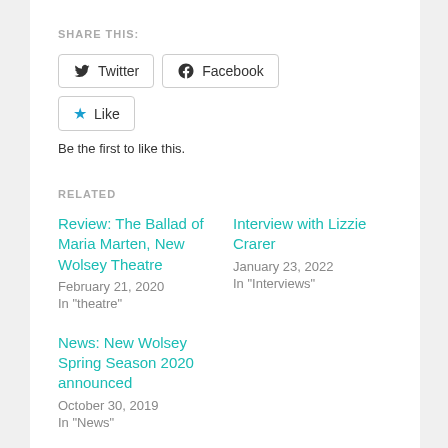SHARE THIS:
[Figure (other): Twitter share button]
[Figure (other): Facebook share button]
[Figure (other): Like button with star icon]
Be the first to like this.
RELATED
Review: The Ballad of Maria Marten, New Wolsey Theatre
February 21, 2020
In "theatre"
Interview with Lizzie Crarer
January 23, 2022
In "Interviews"
News: New Wolsey Spring Season 2020 announced
October 30, 2019
In "News"